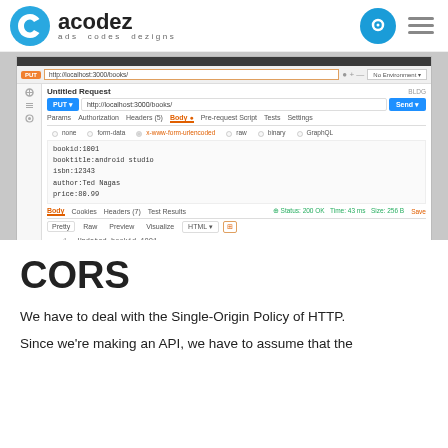acodez — ads codes dezigns
[Figure (screenshot): Postman API client screenshot showing a PUT request to http://localhost:3000/books/ with Body tab selected, x-www-form-urlencoded option chosen. Body fields: bookid:1001, booktitle:android studio, isbn:12343, author:Ted Nagas, price:80.99. Response shows Status: 200 OK, Time: 43ms, Size: 256B. Response body line 1: Updated bookid 1001]
CORS
We have to deal with the Single-Origin Policy of HTTP.
Since we're making an API, we have to assume that the